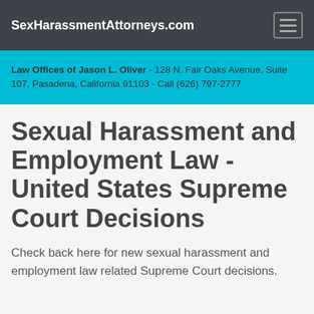SexHarassmentAttorneys.com
Law Offices of Jason L. Oliver - 128 N. Fair Oaks Avenue, Suite 107, Pasadena, California 91103 - Call (626) 797-2777
Sexual Harassment and Employment Law - United States Supreme Court Decisions
Check back here for new sexual harassment and employment law related Supreme Court decisions.